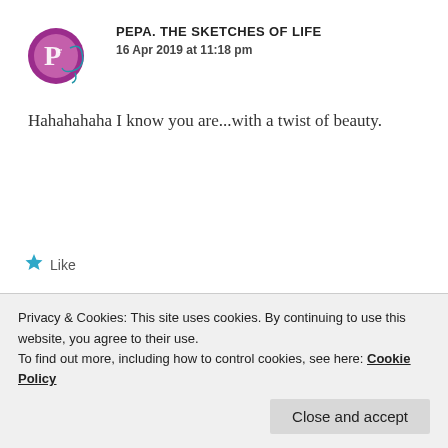[Figure (logo): Pepa The Sketches of Life blog logo - circular purple/magenta logo with cursive text]
PEPA. THE SKETCHES OF LIFE
16 Apr 2019 at 11:18 pm
Hahahahaha I know you are...with a twist of beauty.
Like
[Figure (photo): Round avatar photo for Zealous Homo Sapiens commenter - brown/mauve toned circular profile image]
ZEALOUS HOMO SAPIENS
Privacy & Cookies: This site uses cookies. By continuing to use this website, you agree to their use.
To find out more, including how to control cookies, see here: Cookie Policy
Close and accept